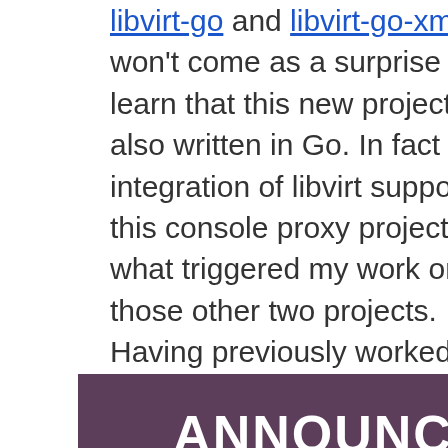libvirt-go and libvirt-go-xml it won't come as a surprise to learn that this new project is also written in Go. In fact the integration of libvirt support in this console proxy project is what triggered my work on those other two projects. Having previously worked on adding the same kind of VNC MITM protocol support to the OpenStack nova-novncproxy server, I find I'm liking Go more and more compared to Python.
ANNOUNCE: